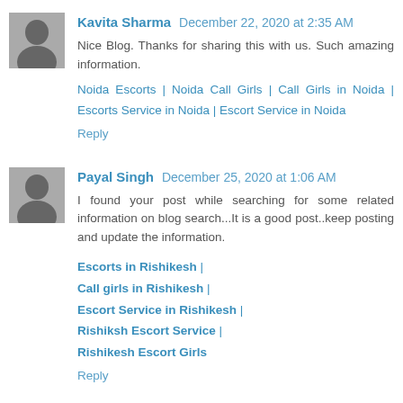[Figure (photo): Avatar photo of Kavita Sharma - small square image of a woman]
Kavita Sharma December 22, 2020 at 2:35 AM
Nice Blog. Thanks for sharing this with us. Such amazing information.
Noida Escorts | Noida Call Girls | Call Girls in Noida | Escorts Service in Noida | Escort Service in Noida
Reply
[Figure (photo): Avatar photo of Payal Singh - small square image of a woman]
Payal Singh December 25, 2020 at 1:06 AM
I found your post while searching for some related information on blog search...It is a good post..keep posting and update the information.
Escorts in Rishikesh |
Call girls in Rishikesh |
Escort Service in Rishikesh |
Rishiksh Escort Service |
Rishikesh Escort Girls
Reply